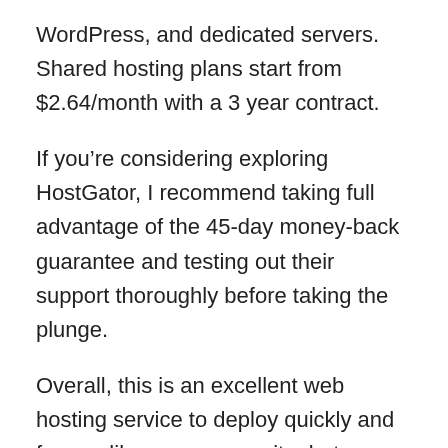WordPress, and dedicated servers. Shared hosting plans start from $2.64/month with a 3 year contract.
If you’re considering exploring HostGator, I recommend taking full advantage of the 45-day money-back guarantee and testing out their support thoroughly before taking the plunge.
Overall, this is an excellent web hosting service to deploy quickly and for use like a company site, but doesn’t always see a ton of traffic every month. However, with VPS options, it will permit you to increase the size of your website depending on the amount of traffic you require.